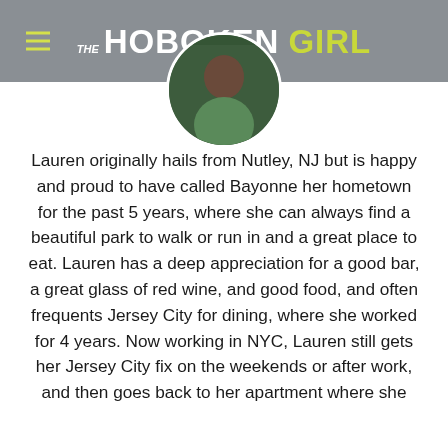THE HOBOKEN GIRL
[Figure (photo): Circular profile photo of Lauren, partially visible at top, showing a person with dark background]
Lauren originally hails from Nutley, NJ but is happy and proud to have called Bayonne her hometown for the past 5 years, where she can always find a beautiful park to walk or run in and a great place to eat. Lauren has a deep appreciation for a good bar, a great glass of red wine, and good food, and often frequents Jersey City for dining, where she worked for 4 years. Now working in NYC, Lauren still gets her Jersey City fix on the weekends or after work, and then goes back to her apartment where she